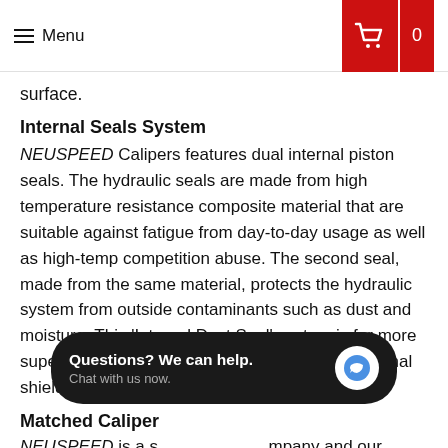≡ Menu | Cart 0
surface.
Internal Seals System
NEUSPEED Calipers features dual internal piston seals. The hydraulic seals are made from high temperature resistance composite material that are suitable against fatigue from day-to-day usage as well as high-temp competition abuse. The second seal, made from the same material, protects the hydraulic system from outside contaminants such as dust and moisture. This 'Internal Dust Seal' system is far more superior in durability compared to the dated external shield/boot system.
Matched Caliper
NEUSPEED is a [company] mpany and our calipers's piston [engineered] gineered SPECIFICALLY to pair with MK7's factory master